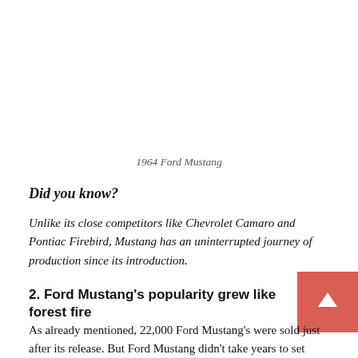1964 Ford Mustang
Did you know?
Unlike its close competitors like Chevrolet Camaro and Pontiac Firebird, Mustang has an uninterrupted journey of production since its introduction.
2. Ford Mustang's popularity grew like forest fire
As already mentioned, 22,000 Ford Mustang's were sold just after its release. But Ford Mustang didn't take years to set another milestone.